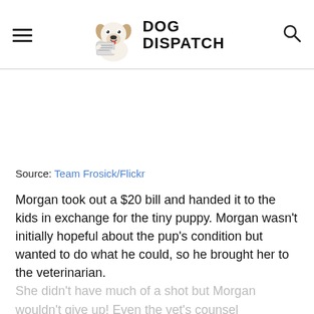DOG DISPATCH
[Figure (illustration): Dog Dispatch logo: cartoon dog holding a newspaper with bold text 'DOG DISPATCH']
Source: Team Frosick/Flickr
Morgan took out a $20 bill and handed it to the kids in exchange for the tiny puppy. Morgan wasn't initially hopeful about the pup's condition but wanted to do what he could, so he brought her to the veterinarian. She didn't have much of a shot but Morgan wouldn't give up! Even the vet's counsel suggested that the